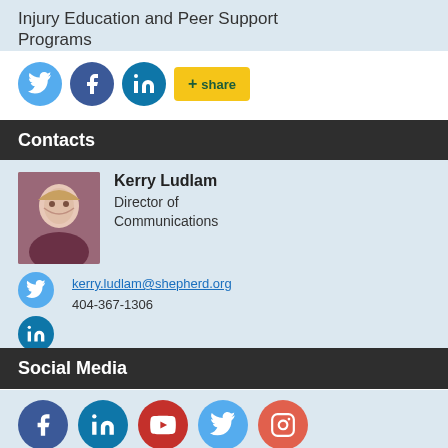Injury Education and Peer Support Programs
[Figure (infographic): Social media share icons: Twitter (light blue circle), Facebook (dark blue circle), LinkedIn (teal circle), and a yellow '+  share' button]
Contacts
[Figure (photo): Headshot photo of Kerry Ludlam, a woman with blonde hair smiling, wearing a dark top]
Kerry Ludlam
Director of Communications
kerry.ludlam@shepherd.org
404-367-1306
[Figure (infographic): Twitter icon and LinkedIn icon for Kerry Ludlam contact social links]
Social Media
[Figure (infographic): Social media icons: Facebook (dark blue), LinkedIn (teal), YouTube (red), Twitter (light blue), Instagram (coral/red)]